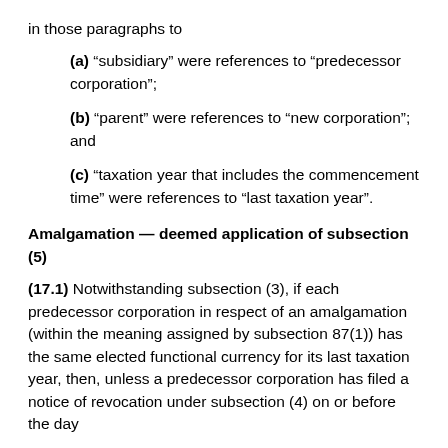in those paragraphs to
(a) “subsidiary” were references to “predecessor corporation”;
(b) “parent” were references to “new corporation”; and
(c) “taxation year that includes the commencement time” were references to “last taxation year”.
Amalgamation — deemed application of subsection (5)
(17.1) Notwithstanding subsection (3), if each predecessor corporation in respect of an amalgamation (within the meaning assigned by subsection 87(1)) has the same elected functional currency for its last taxation year, then, unless a predecessor corporation has filed a notice of revocation under subsection (4) on or before the day